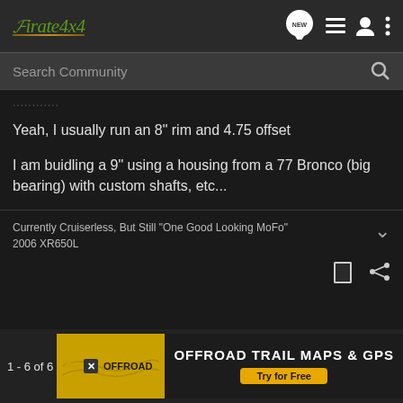Pirate4x4
Search Community
...........
Yeah, I usually run an 8" rim and 4.75 offset
I am buidling a 9" using a housing from a 77 Bronco (big bearing) with custom shafts, etc...
Currently Cruiserless, But Still "One Good Looking MoFo"
2006 XR650L
1 - 6 of 6